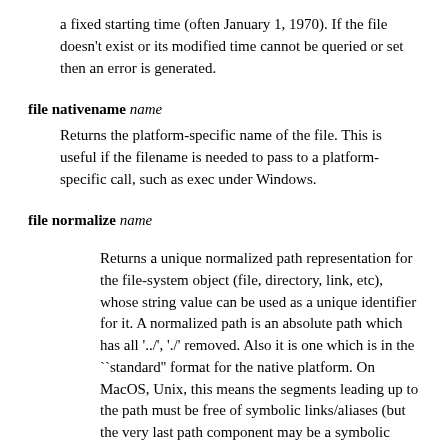a fixed starting time (often January 1, 1970). If the file doesn't exist or its modified time cannot be queried or set then an error is generated.
file nativename name
Returns the platform-specific name of the file. This is useful if the filename is needed to pass to a platform-specific call, such as exec under Windows.
file normalize name
Returns a unique normalized path representation for the file-system object (file, directory, link, etc), whose string value can be used as a unique identifier for it. A normalized path is an absolute path which has all '../', './' removed. Also it is one which is in the ``standard'' format for the native platform. On MacOS, Unix, this means the segments leading up to the path must be free of symbolic links/aliases (but the very last path component may be a symbolic link), and on Windows it also means we want the long form with that form's case-dependence (which gives us a unique, case-dependent path). The one exception concerning the last link in the path is necessary, because Tcl or the user may wish to operate on the actual symbolic link